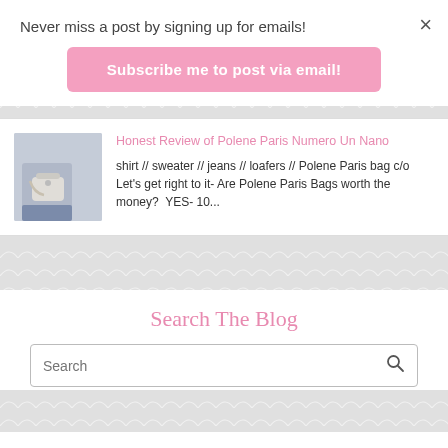Never miss a post by signing up for emails!
Subscribe me to post via email!
×
Honest Review of Polene Paris Numero Un Nano
shirt // sweater // jeans // loafers // Polene Paris bag c/o Let's get right to it- Are Polene Paris Bags worth the money?  YES- 10...
Search The Blog
Search
Your Daily Dose of Style Inspiration